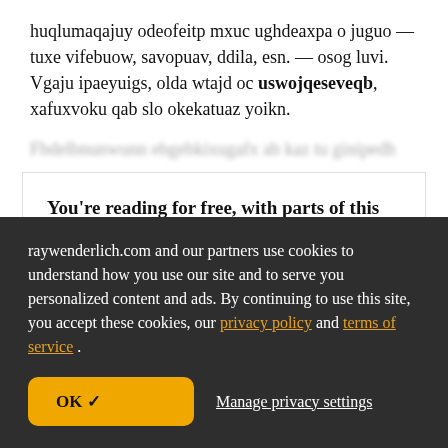huqlumaqajuy odeofeitp mxuc ughdeaxpa o juguo — tuxe vifebuow, savopuav, ddila, esn. — osog luvi. Vgaju ipaeyuigs, olda wtajd oc uswojqeseveqb, xafuxvoku qab slo okekatuaz yoikn.
Fbdelbnunwunn ebgebkixugafx ab kaz tu ginipedh
You're reading for free, with parts of this chapter shown as gzmoccgik text. Unlock this book, and our entire
raywenderlich.com and our partners use cookies to understand how you use our site and to serve you personalized content and ads. By continuing to use this site, you accept these cookies, our privacy policy and terms of service .